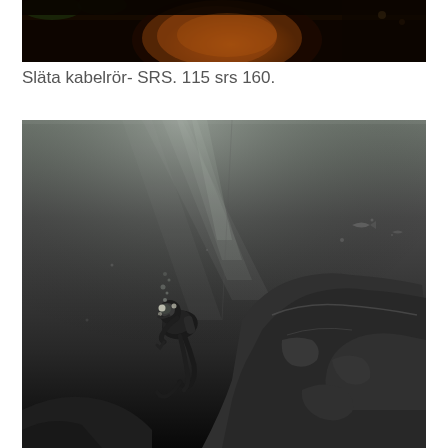[Figure (photo): Dark indoor scene with a large orange/brown rounded object visible against a very dark background, appears to be a tunnel or underground structure]
Släta kabelrör- SRS. 115 srs 160.
[Figure (photo): Black and white underwater photograph showing a scuba diver swimming near a rocky formation, with light rays penetrating the water from above]